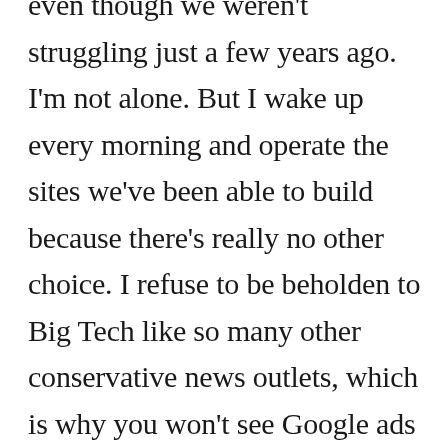even though we weren't struggling just a few years ago. I'm not alone. But I wake up every morning and operate the sites we've been able to build because there's really no other choice. I refuse to be beholden to Big Tech like so many other conservative news outlets, which is why you won't see Google ads here. With that said, it's often challenging to pay the bills and it's even harder to expand so we can get the America First message out to a wider audience